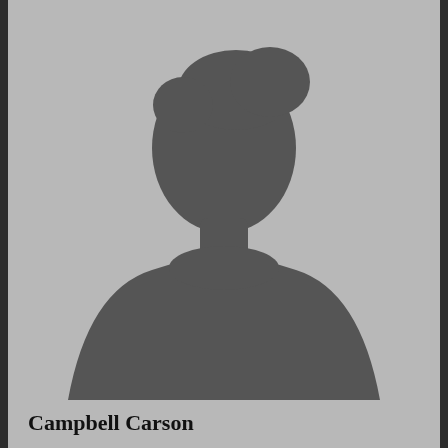[Figure (illustration): Generic placeholder silhouette of a person (head and shoulders) in dark gray against a light gray background, with a 'Menu' button overlay in the top-left corner]
Campbell Carson